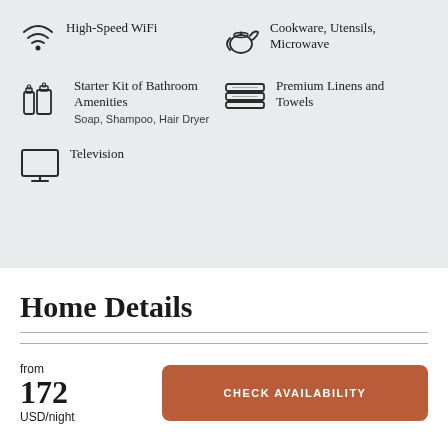High-Speed WiFi
Cookware, Utensils, Microwave
Starter Kit of Bathroom Amenities – Soap, Shampoo, Hair Dryer
Premium Linens and Towels
Television
Home Details
from
172
USD/night
CHECK AVAILABILITY